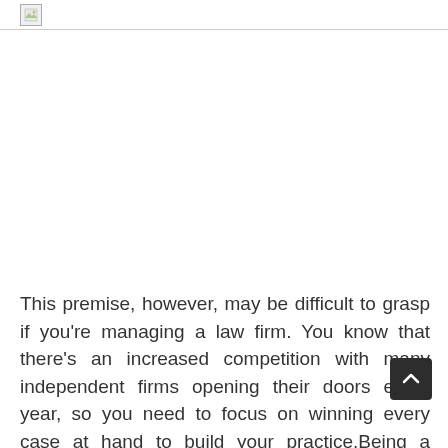[Figure (other): Broken image placeholder icon in top-left corner with a thin border line running horizontally across the top of the page]
This premise, however, may be difficult to grasp if you’re managing a law firm. You know that there’s an increased competition with many independent firms opening their doors every year, so you need to focus on winning every case at hand to build your practice.Being a lawyer is not a definite excuse to neglect online marketing, st especially the use of SEO. We’re giving you the reasons you should be employing the most recent online marketing